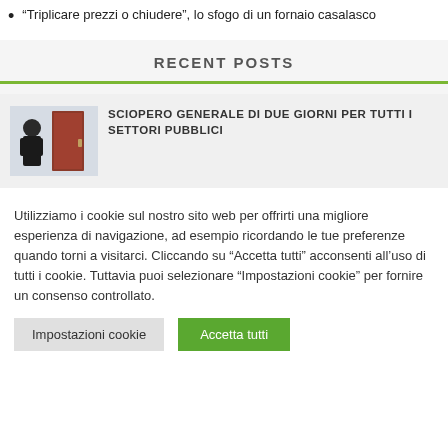“Triplicare prezzi o chiudere”, lo sfogo di un fornaio casalasco
RECENT POSTS
[Figure (photo): Thumbnail image showing a person near a door in a hallway]
SCIOPERO GENERALE DI DUE GIORNI PER TUTTI I SETTORI PUBBLICI
Utilizziamo i cookie sul nostro sito web per offrirti una migliore esperienza di navigazione, ad esempio ricordando le tue preferenze quando torni a visitarci. Cliccando su "Accetta tutti" acconsenti all'uso di tutti i cookie. Tuttavia puoi selezionare "Impostazioni cookie" per fornire un consenso controllato.
Impostazioni cookie | Accetta tutti